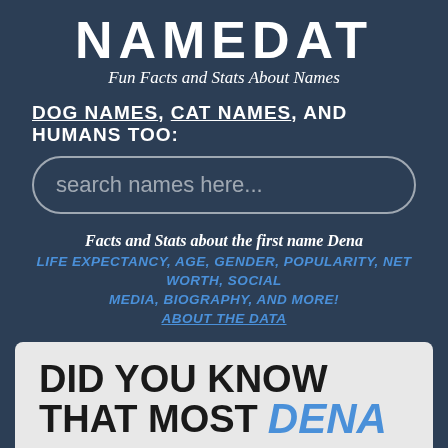NAMEDAT
Fun Facts and Stats About Names
DOG NAMES, CAT NAMES, AND HUMANS TOO:
search names here...
Facts and Stats about the first name Dena
LIFE EXPECTANCY, AGE, GENDER, POPULARITY, NET WORTH, SOCIAL MEDIA, BIOGRAPHY, AND MORE! ABOUT THE DATA
DID YOU KNOW THAT MOST DENA